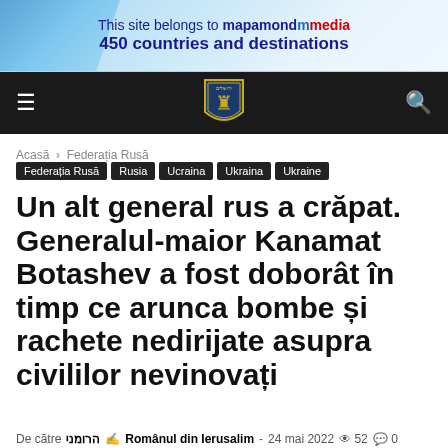[Figure (screenshot): Banner advertisement: 'This site belongs to mapamond media — 450 countries and destinations' with world map graphic on left]
[Figure (screenshot): Navigation bar with hamburger menu, Jerusalem coat of arms logo (lion shield), and search icon on dark background]
Acasă › Federația Rusă
Federația Rusă | Rusia | Ucraina | Ukraina | Ukraine
Un alt general rus a crăpat. Generalul-maior Kanamat Botashev a fost doborât în timp ce arunca bombe și rachete nedirijate asupra civililor nevinovați
De către הרומני ✍ Românul din Ierusalim - 24 mai 2022 👁 52 💬 0